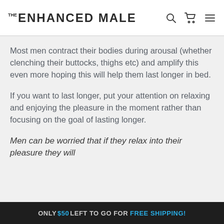THE ENHANCED MALE
Most men contract their bodies during arousal (whether clenching their buttocks, thighs etc) and amplify this even more hoping this will help them last longer in bed.
If you want to last longer, put your attention on relaxing and enjoying the pleasure in the moment rather than focusing on the goal of lasting longer.
Men can be worried that if they relax into their pleasure they will
ONLY $50 LEFT TO GO FOR FREE SHIPPING!